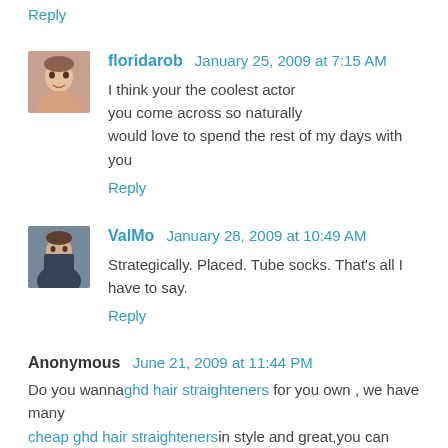Reply
floridarob  January 25, 2009 at 7:15 AM
I think your the coolest actor
you come across so naturally
would love to spend the rest of my days with you
Reply
ValMo  January 28, 2009 at 10:49 AM
Strategically. Placed. Tube socks. That's all I have to say.
Reply
Anonymous  June 21, 2009 at 11:44 PM
Do you wanna ghd hair straighteners for you own , we have many
cheap ghd hair straighteners in style and great,you can
choose one from those